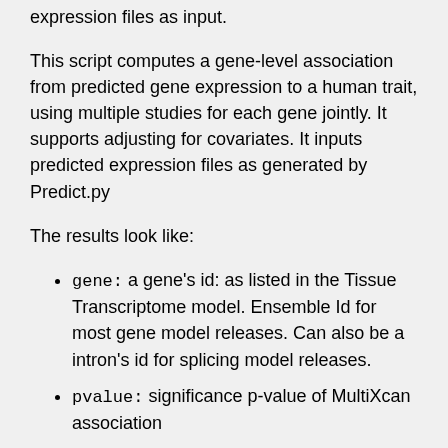expression files as input.
This script computes a gene-level association from predicted gene expression to a human trait, using multiple studies for each gene jointly. It supports adjusting for covariates. It inputs predicted expression files as generated by Predict.py
The results look like:
gene: a gene's id: as listed in the Tissue Transcriptome model. Ensemble Id for most gene model releases. Can also be a intron's id for splicing model releases.
pvalue: significance p-value of MultiXcan association
n_models: number of models (tissues) available for this gene
n_samples: number of individuals available to this gene-phenotype combination (k.e. inner join